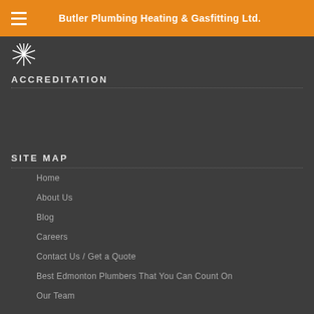Butler Plumbing Heating & Gasfitting Ltd.
ACCREDITATION
SITE MAP
Home
About Us
Blog
Careers
Contact Us / Get a Quote
Best Edmonton Plumbers That You Can Count On
Our Team